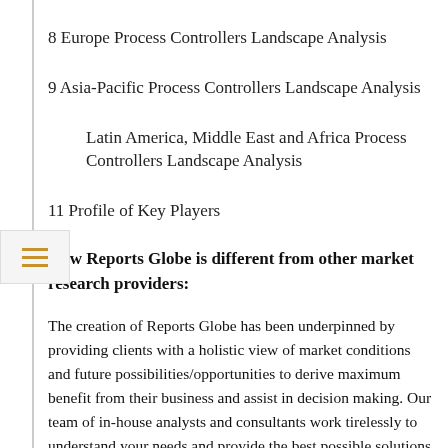8 Europe Process Controllers Landscape Analysis
9 Asia-Pacific Process Controllers Landscape Analysis
Latin America, Middle East and Africa Process Controllers Landscape Analysis
11 Profile of Key Players
How Reports Globe is different from other market research providers:
The creation of Reports Globe has been underpinned by providing clients with a holistic view of market conditions and future possibilities/opportunities to derive maximum benefit from their business and assist in decision making. Our team of in-house analysts and consultants work tirelessly to understand your needs and provide the best possible solutions to meet your research